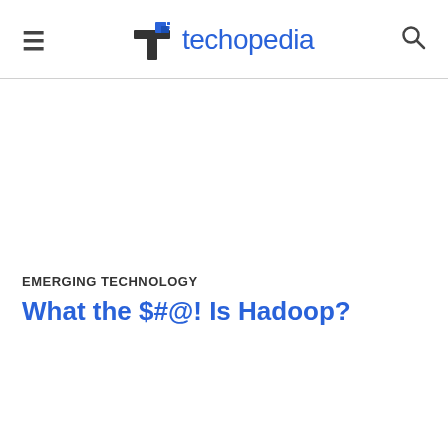techopedia
EMERGING TECHNOLOGY
What the $#@! Is Hadoop?